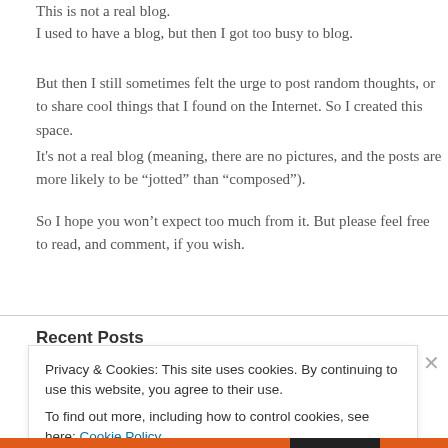This is not a real blog.
I used to have a blog, but then I got too busy to blog.
But then I still sometimes felt the urge to post random thoughts, or to share cool things that I found on the Internet. So I created this space.
It's not a real blog (meaning, there are no pictures, and the posts are more likely to be "jotted" than "composed").
So I hope you won't expect too much from it. But please feel free to read, and comment, if you wish.
Recent Posts
Privacy & Cookies: This site uses cookies. By continuing to use this website, you agree to their use.
To find out more, including how to control cookies, see here: Cookie Policy
Close and accept